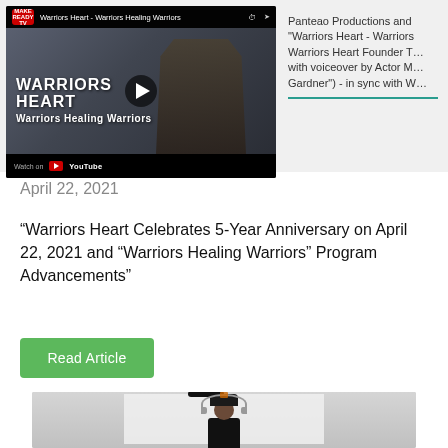[Figure (screenshot): YouTube video thumbnail for 'Warriors Heart - Warriors Healing Warriors' showing a man in a dark shirt with bold text overlay 'WARRIORS HEART Warriors Healing Warriors' and a play button in the center.]
Panteao Productions and "Warriors Heart - Warriors Warriors Heart Founder T~ with voiceover by Actor M~ Gardner") - in sync with W~
April 22, 2021
“Warriors Heart Celebrates 5-Year Anniversary on April 22, 2021 and “Warriors Healing Warriors” Program Advancements”
Read Article
[Figure (photo): Photo of a person wearing a dark cap and headphones in front of a white banner/backdrop]